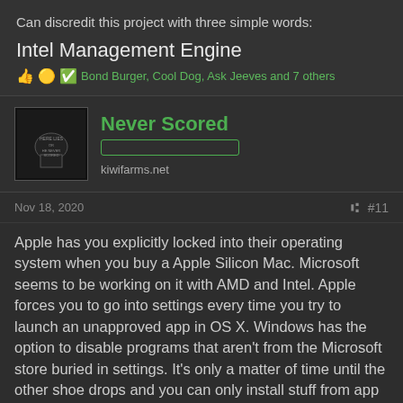Can discredit this project with three simple words:
Intel Management Engine
Bond Burger, Cool Dog, Ask Jeeves and 7 others
Never Scored
kiwifarms.net
Nov 18, 2020
#11
Apple has you explicitly locked into their operating system when you buy a Apple Silicon Mac. Microsoft seems to be working on it with AMD and Intel. Apple forces you to go into settings every time you try to launch an unapproved app in OS X. Windows has the option to disable programs that aren't from the Microsoft store buried in settings. It's only a matter of time until the other shoe drops and you can only install stuff from app stores for your own protection but default and to prevent like, what, essentially If